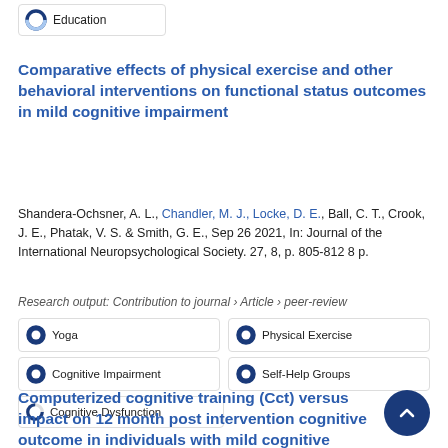Education
Comparative effects of physical exercise and other behavioral interventions on functional status outcomes in mild cognitive impairment
Shandera-Ochsner, A. L., Chandler, M. J., Locke, D. E., Ball, C. T., Crook, J. E., Phatak, V. S. & Smith, G. E., Sep 26 2021, In: Journal of the International Neuropsychological Society. 27, 8, p. 805-812 8 p.
Research output: Contribution to journal › Article › peer-review
Yoga
Physical Exercise
Cognitive Impairment
Self-Help Groups
Cognitive Dysfunction
Computerized cognitive training (Cct) versus impact on 12 month post intervention cognitive outcome in individuals with mild cognitive